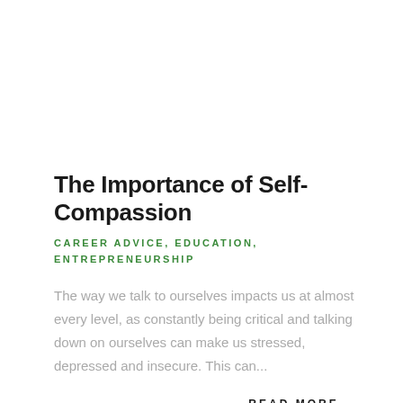The Importance of Self-Compassion
CAREER ADVICE, EDUCATION, ENTREPRENEURSHIP
The way we talk to ourselves impacts us at almost every level, as constantly being critical and talking down on ourselves can make us stressed, depressed and insecure. This can...
READ MORE →